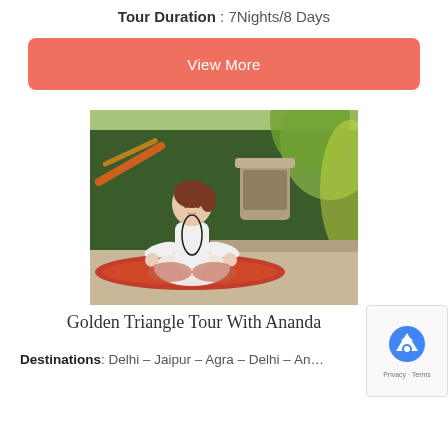Tour Duration : 7Nights/8 Days
View More
[Figure (photo): A woman in white clothing sitting in a lotus yoga meditation pose on a colorful mat in a lush garden setting with green trees and decorative planters in the background]
Golden Triangle Tour With Ananda
Destinations: Delhi – Jaipur – Agra – Delhi – An...